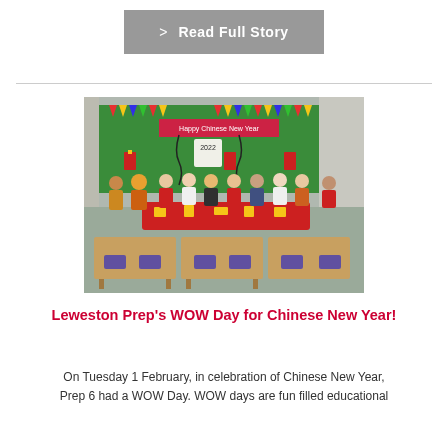> Read Full Story
[Figure (photo): Classroom photo showing children in costumes celebrating Chinese New Year, standing in front of a green bulletin board decorated with bunting and 'Happy Chinese New Year' banner, holding a red and gold decorative cloth. Wooden tables and purple chairs in foreground.]
Leweston Prep's WOW Day for Chinese New Year!
On Tuesday 1 February, in celebration of Chinese New Year, Prep 6 had a WOW Day. WOW days are fun filled educational